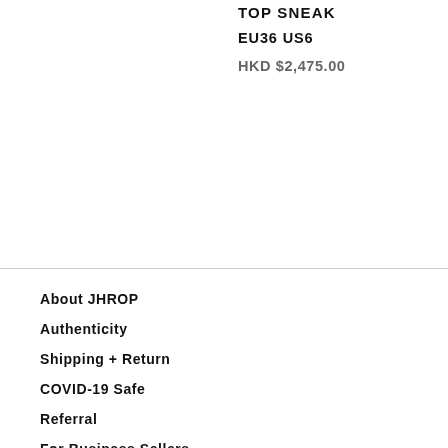TOP SNEAK
EU36 US6
HKD $2,475.00
About JHROP
Authenticity
Shipping + Return
COVID-19 Safe
Referral
For Business Sellers
Press
Privacy Policy
JOIN OUR JHROP BOX